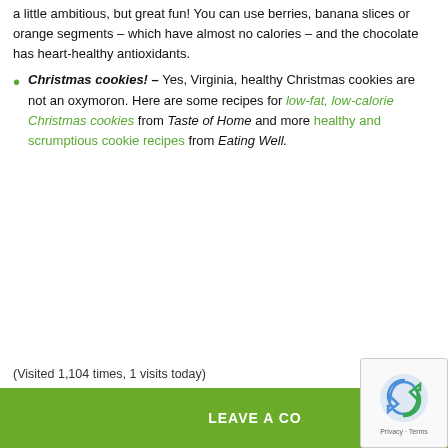a little ambitious, but great fun! You can use berries, banana slices or orange segments – which have almost no calories – and the chocolate has heart-healthy antioxidants.
Christmas cookies! – Yes, Virginia, healthy Christmas cookies are not an oxymoron. Here are some recipes for low-fat, low-calorie Christmas cookies from Taste of Home and more healthy and scrumptious cookie recipes from Eating Well.
(Visited 1,104 times, 1 visits today)
LEAVE A COMMENT